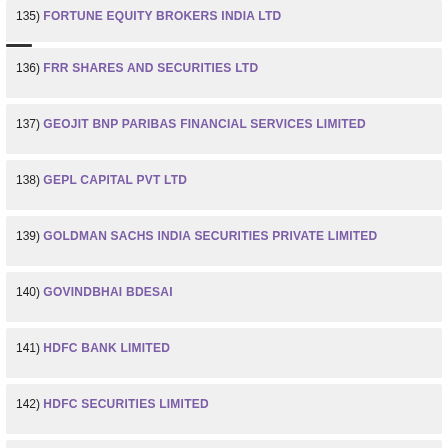135) FORTUNE EQUITY BROKERS INDIA LTD
136) FRR SHARES AND SECURITIES LTD
137) GEOJIT BNP PARIBAS FINANCIAL SERVICES LIMITED
138) GEPL CAPITAL PVT LTD
139) GOLDMAN SACHS INDIA SECURITIES PRIVATE LIMITED
140) GOVINDBHAI BDESAI
141) HDFC BANK LIMITED
142) HDFC SECURITIES LIMITED
143) HG ASIA LTD
144) HOME TRADE LIMITED